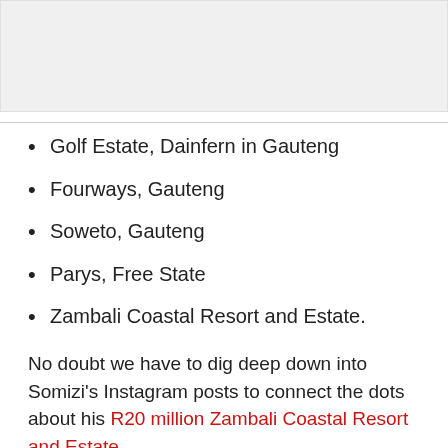[Figure (photo): Gray placeholder image area at the top of the page]
Golf Estate, Dainfern in Gauteng
Fourways, Gauteng
Soweto, Gauteng
Parys, Free State
Zambali Coastal Resort and Estate.
No doubt we have to dig deep down into Somizi's Instagram posts to connect the dots about his R20 million Zambali Coastal Resort and Estate.